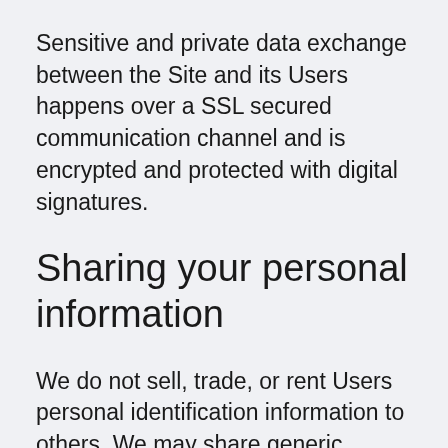Sensitive and private data exchange between the Site and its Users happens over a SSL secured communication channel and is encrypted and protected with digital signatures.
Sharing your personal information
We do not sell, trade, or rent Users personal identification information to others. We may share generic aggregated demographic information not linked to any personal identification information...